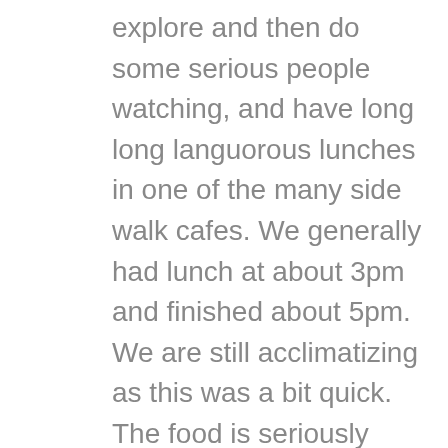explore and then do some serious people watching, and have long long languorous lunches in one of the many side walk cafes. We generally had lunch at about 3pm and finished about 5pm. We are still acclimatizing as this was a bit quick. The food is seriously good in this city, and the people watching is an art form, that we seem to have adapted to well. Then comes Sunday afternoon and it is time to sleep for a few days in preparation for the next ‘onslaught’